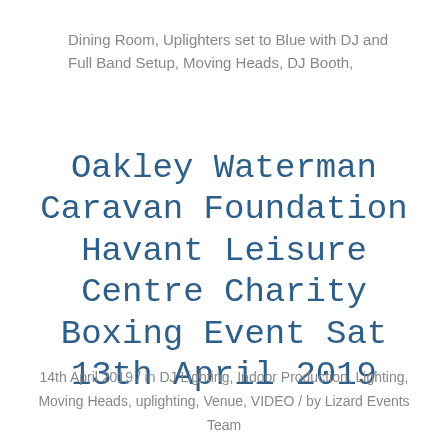Dining Room, Uplighters set to Blue with DJ and Full Band Setup, Moving Heads, DJ Booth,
Oakley Waterman Caravan Foundation Havant Leisure Centre Charity Boxing Event Sat 13th April 2019
14th April 2019 / in DJ Lighting, Indoor Production, Lighting, Moving Heads, uplighting, Venue, VIDEO / by Lizard Events Team